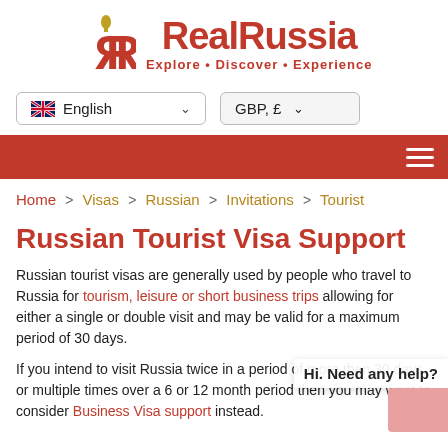[Figure (logo): RealRussia logo with stylized RR icon in red and text 'RealRussia Explore • Discover • Experience']
[Figure (screenshot): Language selector dropdown showing English with UK flag and chevron, and GBP £ currency selector]
[Figure (screenshot): Red navigation bar with hamburger menu icon on right]
Home > Visas > Russian > Invitations > Tourist
Russian Tourist Visa Support
Russian tourist visas are generally used by people who travel to Russia for tourism, leisure or short business trips allowing for either a single or double visit and may be valid for a maximum period of 30 days.
If you intend to visit Russia twice in a period of more than 30 days, or multiple times over a 6 or 12 month period then you may want to consider Business Visa support instead.